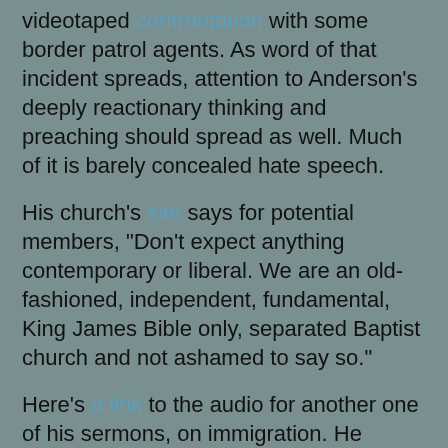videotaped confrontation with some border patrol agents. As word of that incident spreads, attention to Anderson's deeply reactionary thinking and preaching should spread as well. Much of it is barely concealed hate speech.
His church's site says for potential members, "Don't expect anything contemporary or liberal. We are an old-fashioned, independent, fundamental, King James Bible only, separated Baptist church and not ashamed to say so."
Here's a link to the audio for another one of his sermons, on immigration. He begins by denouncing George W. Bush as a "spineless wimp" and a "flaming liberal," and then descends into "old-fashioned," unashamed racism and sexism. Anderson also has his own channel on YouTube, which includes a thirty-second clip of him kicking out some "hecklers" who object to his description of Barack Obama as the devil.
Young Pastor Anderson likes to position himself outside the bounds of "political correctness"--far to the right of it, actually. And yet, like nearly all white Americans, he basically